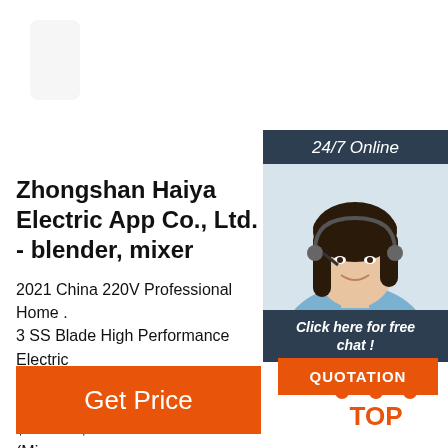[Figure (photo): Product photo of blender/kitchen appliance with spoon, cropped at top]
24/7 Online
[Figure (photo): Customer service agent woman with headset, smiling, blue blouse]
Zhongshan Haiya Electric App Co., Ltd. - blender, mixer
2021 China 220V Professional Home . 3 SS Blade High Performance Electric Speed Baby Food Mixer Juicer Blende $26.00 - $33.00 Piece 100 Pieces (Mi Multifunctional Jug Minmax Stainless Steel Blender 3 In 1 With Ce Certificate
Click here for free chat !
QUOTATION
Get Price
[Figure (illustration): TOP icon with orange dots arranged in triangle and text TOP in orange]